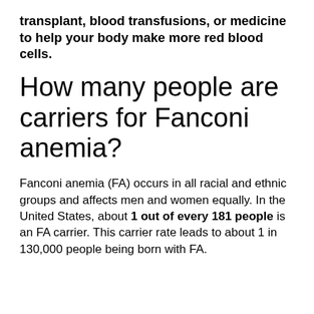transplant, blood transfusions, or medicine to help your body make more red blood cells.
How many people are carriers for Fanconi anemia?
Fanconi anemia (FA) occurs in all racial and ethnic groups and affects men and women equally. In the United States, about 1 out of every 181 people is an FA carrier. This carrier rate leads to about 1 in 130,000 people being born with FA.